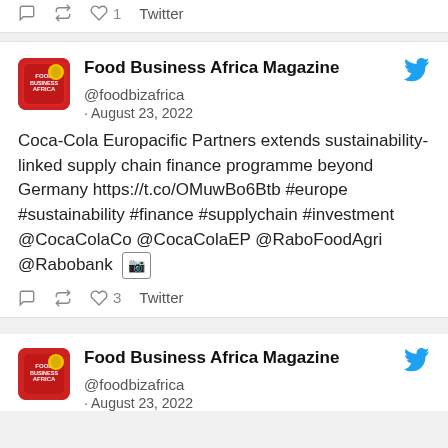♡ 1  Twitter (partial tweet top)
Food Business Africa Magazine @foodbizafrica · August 23, 2022 — Coca-Cola Europacific Partners extends sustainability-linked supply chain finance programme beyond Germany https://t.co/OMuwBo6Btb #europe #sustainability #finance #supplychain #investment @CocaColaCo @CocaColaEP @RaboFoodAgri @Rabobank [image]
♡ 3  Twitter
Food Business Africa Magazine @foodbizafrica · August 23, 2022 (partial tweet bottom)